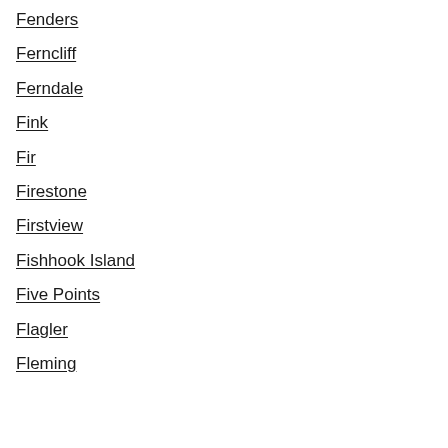Fenders
Ferncliff
Ferndale
Fink
Fir
Firestone
Firstview
Fishhook Island
Five Points
Flagler
Fleming